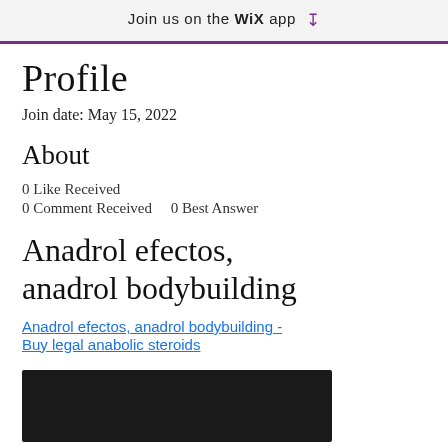Join us on the WiX app ⬇
Profile
Join date: May 15, 2022
About
0 Like Received
0 Comment Received    0 Best Answer
Anadrol efectos, anadrol bodybuilding
Anadrol efectos, anadrol bodybuilding - Buy legal anabolic steroids
[Figure (photo): Dark blurred image, partially visible at bottom of page]